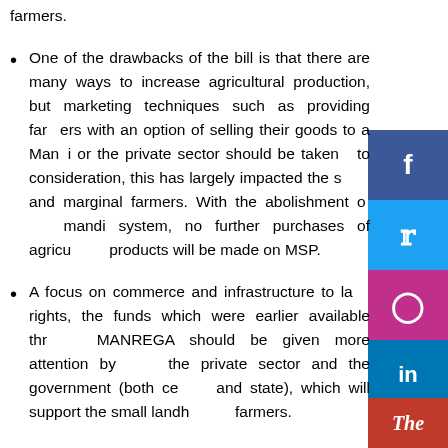farmers.
One of the drawbacks of the bill is that there are many ways to increase agricultural production, but marketing techniques such as providing farmers with an option of selling their goods to a Mandi or the private sector should be taken into consideration, this has largely impacted the small and marginal farmers. With the abolishment of the mandi system, no further purchases of agricultural products will be made on MSP.
A focus on commerce and infrastructure to land rights, the funds which were earlier available through MANREGA should be given more attention by both the private sector and the government (both central and state), which will support the small landholding farmers.
Farmers are afraid that if this agreement, The